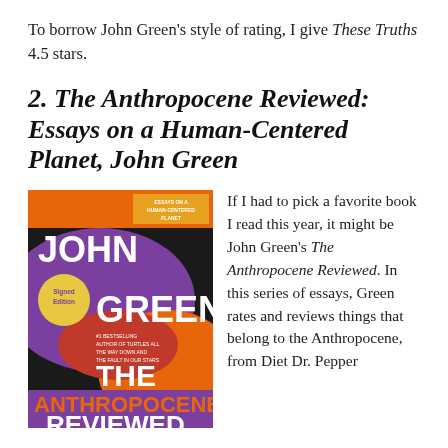To borrow John Green's style of rating, I give These Truths 4.5 stars.
2. The Anthropocene Reviewed: Essays on a Human-Centered Planet, John Green
[Figure (photo): Book cover of 'The Anthropocene Reviewed' by John Green, Signed Edition. Bold colorful design with purple, orange, black, and red shapes. Text reads: JOHN GREEN THE ANTHROPOCENE REVIEWED, ESSAYS ON A HUMAN-CENTERED PLANET. A golden circle says 'Signed Edition'. Subtitle: #1 BESTSELLING AUTHOR OF TURTLES ALL THE WAY DOWN AND THE FAULT IN OUR STARS.]
If I had to pick a favorite book I read this year, it might be John Green's The Anthropocene Reviewed. In this series of essays, Green rates and reviews things that belong to the Anthropocene, from Diet Dr. Pepper